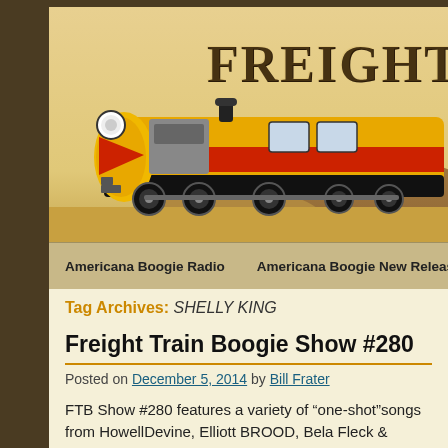[Figure (illustration): Freight Train Boogie website header with a yellow and red locomotive illustration on a tan/sandy background, with 'FREIGHT TR...' text in large dark western-style font]
Americana Boogie Radio | Americana Boogie New Releases | B...
Tag Archives: SHELLY KING
Freight Train Boogie Show #280
Posted on December 5, 2014 by Bill Frater
FTB Show #280 features a variety of “one-shot”songs from HowellDevine, Elliott BROOD, Bela Fleck & Abigail Wash... the iTunes link to subscribe to the FTB podcasts. Direct li...